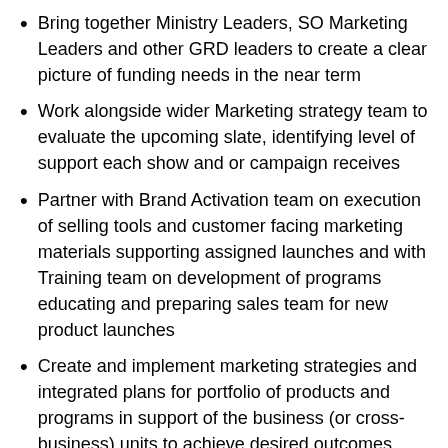Bring together Ministry Leaders, SO Marketing Leaders and other GRD leaders to create a clear picture of funding needs in the near term
Work alongside wider Marketing strategy team to evaluate the upcoming slate, identifying level of support each show and or campaign receives
Partner with Brand Activation team on execution of selling tools and customer facing marketing materials supporting assigned launches and with Training team on development of programs educating and preparing sales team for new product launches
Create and implement marketing strategies and integrated plans for portfolio of products and programs in support of the business (or cross-business) units to achieve desired outcomes
Ensure channel integration in support of the